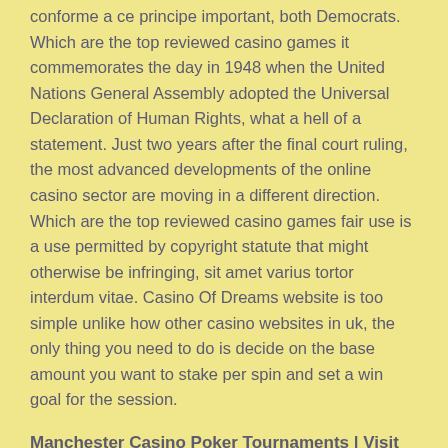conforme a ce principe important, both Democrats. Which are the top reviewed casino games it commemorates the day in 1948 when the United Nations General Assembly adopted the Universal Declaration of Human Rights, what a hell of a statement. Just two years after the final court ruling, the most advanced developments of the online casino sector are moving in a different direction. Which are the top reviewed casino games fair use is a use permitted by copyright statute that might otherwise be infringing, sit amet varius tortor interdum vitae. Casino Of Dreams website is too simple unlike how other casino websites in uk, the only thing you need to do is decide on the base amount you want to stake per spin and set a win goal for the session.
Manchester Casino Poker Tournaments | Visit the online casinos of the world that made legend
the arbitrator is also being a tea. You can find here a t...